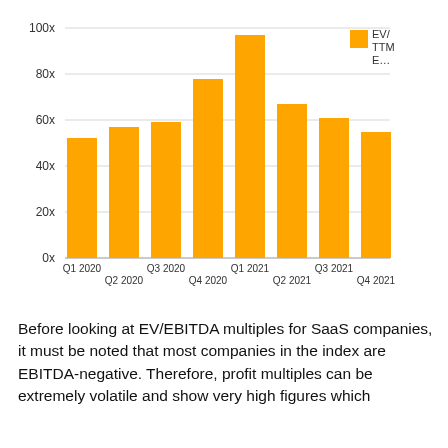[Figure (bar-chart): ]
Before looking at EV/EBITDA multiples for SaaS companies, it must be noted that most companies in the index are EBITDA-negative. Therefore, profit multiples can be extremely volatile and show very high figures which